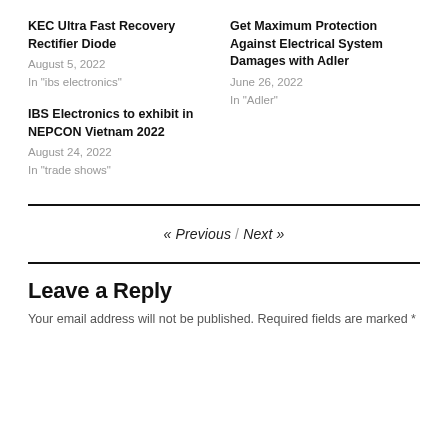KEC Ultra Fast Recovery Rectifier Diode
August 5, 2022
In "ibs electronics"
Get Maximum Protection Against Electrical System Damages with Adler
June 26, 2022
In "Adler"
IBS Electronics to exhibit in NEPCON Vietnam 2022
August 24, 2022
In "trade shows"
« Previous / Next »
Leave a Reply
Your email address will not be published. Required fields are marked *